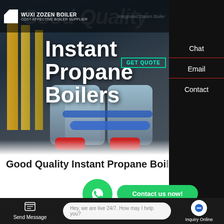[Figure (screenshot): Hero banner showing industrial propane boilers in a manufacturing facility, dark blue-grey background with large machinery]
COST-EFFECTIVE BOILER SUPPLIER | Integrated Steam Boiler
Good Quality Instant Propane Boilers
Chat
Email
Contact
Contact us now!
HOT NEWS
Hey, we are live 24/7. How may I help you?
Send Message
Inquiry Online